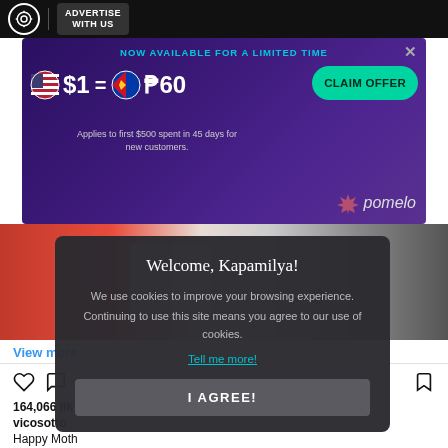ADVERTISE WITH US
[Figure (infographic): Advertisement banner: NOW AVAILABLE FOR A LIMITED TIME. $1 = ₱60. CLAIM OFFER. Applies to first $500 spent in 45 days for new customers. Pomelo logo.]
[Figure (photo): Blurred photo of people in red and blue clothing]
View more
164,066 lik
vicosotto
Happy Moth
view all 1,974 comments
[Figure (infographic): Cookie consent modal: Welcome, Kapamilya! We use cookies to improve your browsing experience. Continuing to use this site means you agree to our use of cookies. Tell me more! I AGREE!]